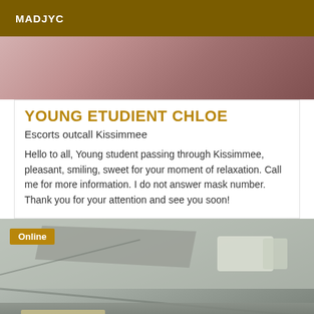MADJYC
[Figure (photo): Top partial photo showing person or figure, cropped]
YOUNG ETUDIENT CHLOE
Escorts outcall Kissimmee
Hello to all, Young student passing through Kissimmee, pleasant, smiling, sweet for your moment of relaxation. Call me for more information. I do not answer mask number. Thank you for your attention and see you soon!
[Figure (photo): Interior of a car, view from back seat showing ceiling and windows, with Online badge overlay]